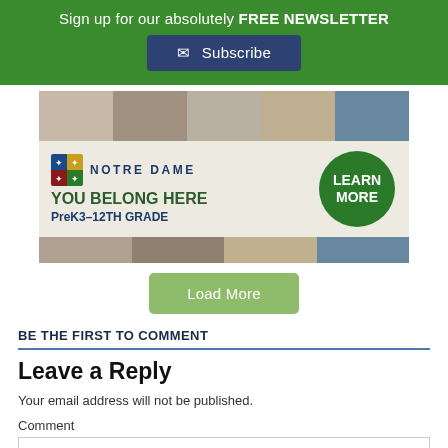Sign up for our absolutely FREE NEWSLETTER
Subscribe
[Figure (infographic): Notre Dame school advertisement banner showing students photo strip at top, Notre Dame logo and name, tagline 'YOU BELONG HERE PreK3-12TH GRADE', and a green 'LEARN MORE' circle button.]
Load More
BE THE FIRST TO COMMENT
Leave a Reply
Your email address will not be published.
Comment